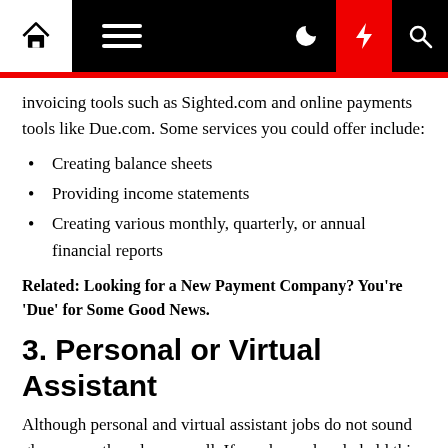Navigation bar with home, menu, moon, lightning, and search icons
invoicing tools such as Sighted.com and online payments tools like Due.com. Some services you could offer include:
Creating balance sheets
Providing income statements
Creating various monthly, quarterly, or annual financial reports
Related: Looking for a New Payment Company? You're 'Due' for Some Good News.
3. Personal or Virtual Assistant
Although personal and virtual assistant jobs do not sound glamorous, they do pay well. If you have already held this job in an office, you will find the digital version allows for a lot more freedom. Use